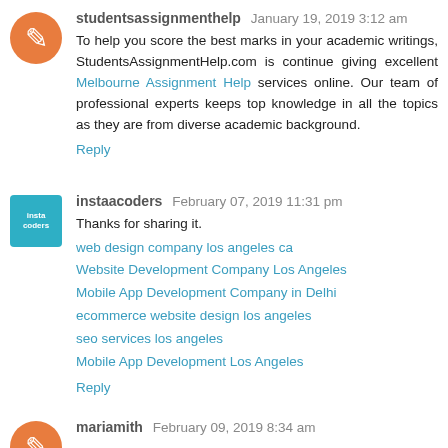studentsassignmenthelp January 19, 2019 3:12 am
To help you score the best marks in your academic writings, StudentsAssignmentHelp.com is continue giving excellent Melbourne Assignment Help services online. Our team of professional experts keeps top knowledge in all the topics as they are from diverse academic background.
Reply
instaacoders February 07, 2019 11:31 pm
Thanks for sharing it.
web design company los angeles ca
Website Development Company Los Angeles
Mobile App Development Company in Delhi
ecommerce website design los angeles
seo services los angeles
Mobile App Development Los Angeles
Reply
mariamith February 09, 2019 8:34 am